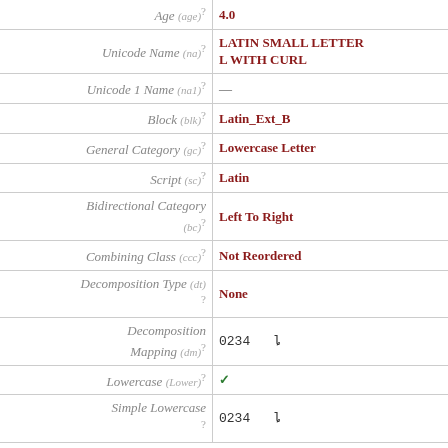| Property | Value |
| --- | --- |
| Age (age) ? | 4.0 |
| Unicode Name (na) ? | LATIN SMALL LETTER L WITH CURL |
| Unicode 1 Name (na1) ? | — |
| Block (blk) ? | Latin_Ext_B |
| General Category (gc) ? | Lowercase Letter |
| Script (sc) ? | Latin |
| Bidirectional Category (bc) ? | Left To Right |
| Combining Class (ccc) ? | Not Reordered |
| Decomposition Type (dt) ? | None |
| Decomposition Mapping (dm) ? | 0234  ȴ |
| Lowercase (Lower) ? | ✓ |
| Simple Lowercase ? | 0234  ȴ |